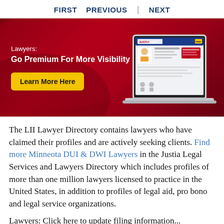FIRST   PREVIOUS   |   NEXT
[Figure (illustration): Justia Lawyers premium banner with dark red background, text 'Lawyers: Go Premium For More Visibility', a yellow 'Learn More Here' button, and a laptop illustration showing a Justia Lawyers profile page]
The LII Lawyer Directory contains lawyers who have claimed their profiles and are actively seeking clients. Find more Minneota DUI & DWI Lawyers in the Justia Legal Services and Lawyers Directory which includes profiles of more than one million lawyers licensed to practice in the United States, in addition to profiles of legal aid, pro bono and legal service organizations.
Lawyers: Click here to update filing information...